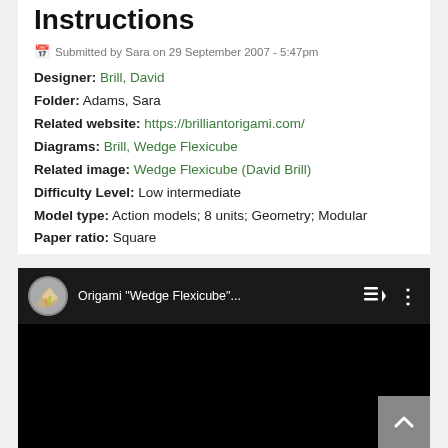Instructions
Submitted by Sara on 29 September 2007 - 5:47pm
Designer: Brill, David
Folder: Adams, Sara
Related website: https://brilliantorigami.com/
Diagrams: Brill, Wedge Flexicube
Related image: Wedge Flexicube (David Brill)
Difficulty Level: Low intermediate
Model type: Action models; 8 units; Geometry; Modular
Paper ratio: Square
[Figure (screenshot): YouTube video embed showing Origami Wedge Flexicube video with thumbnail of hands folding paper, playlist icon, and more options icon]